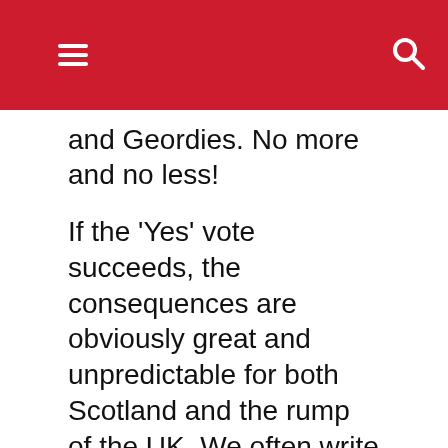[navigation bar with menu and search icons]
and Geordies. No more and no less!
If the 'Yes' vote succeeds, the consequences are obviously great and unpredictable for both Scotland and the rump of the UK. We often write about the law of unintended consequences and the problems that arise when politicians, who are ignorant of history and are pursuing short-term and unprincipled goals, open a 'pandora's box'. A 'Yes' vote, which will certainly shake the financial foundations of the UK, may well have a domino effect abroad. Obama's US economy has the shakiest of foundations and the EU, Russia, China and many Second and Third World countries are all vulnerable to a collapse of confidence. Will Friday the 19th September 2014, see the start of another 1929? We hope not, but all of these conditions for a catastrophe are in place for